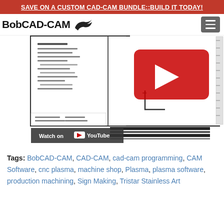SAVE ON A CUSTOM CAD-CAM BUNDLE::BUILD IT TODAY!
[Figure (logo): BobCAD-CAM logo with bird icon and hamburger menu button]
[Figure (screenshot): YouTube video thumbnail showing a whiteboard animation of CAD-CAM software with a hand drawing, YouTube play button overlay, and 'Watch on YouTube' label]
Tags: BobCAD-CAM, CAD-CAM, cad-cam programming, CAM Software, cnc plasma, machine shop, Plasma, plasma software, production machining, Sign Making, Tristar Stainless Art